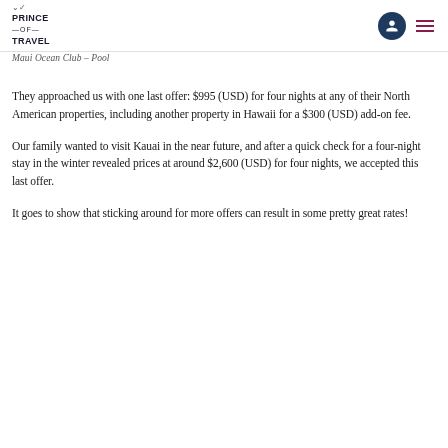Prince of Travel
Maui Ocean Club – Pool
They approached us with one last offer: $995 (USD) for four nights at any of their North American properties, including another property in Hawaii for a $300 (USD) add-on fee.
Our family wanted to visit Kauai in the near future, and after a quick check for a four-night stay in the winter revealed prices at around $2,600 (USD) for four nights, we accepted this last offer.
It goes to show that sticking around for more offers can result in some pretty great rates!